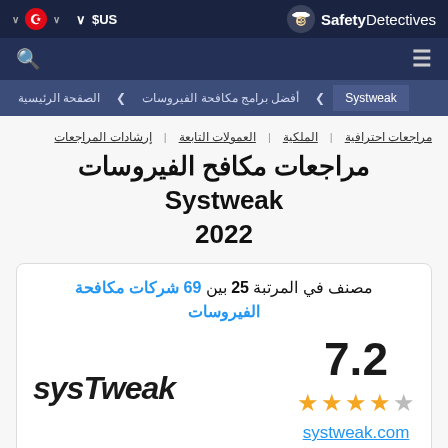Safety Detectives - $US - TR flag - Search - Menu
الصفحة الرئيسية > أفضل برامج مكافحة الفيروسات > Systweak
مراجعات احترافية | الملكية | العمولات التابعة | إرشادات المراجعات
مراجعات مكافح الفيروسات Systweak 2022
مصنف في المرتبة 25 بين 69 شركات مكافحة الفيروسات
7.2 — 4 stars out of 5 — systweak.com — SYSTWEAK logo